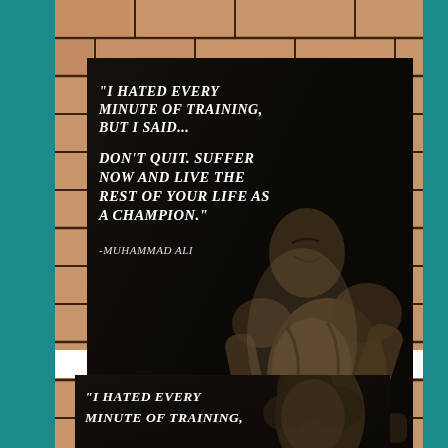[Figure (photo): Motivational poster with Muhammad Ali quote on dark background with black-and-white photo of a boxer. Quote reads: "I hated every minute of training, but I said... Don't quit. Suffer now and live the rest of your life as a champion." - Muhammad Ali. Poster is placed against a brick wall background with teal side borders.]
[Figure (photo): Partial/thumbnail version of the same Muhammad Ali motivational poster at bottom of page, showing beginning of the quote: "I hated every minute of training,"]